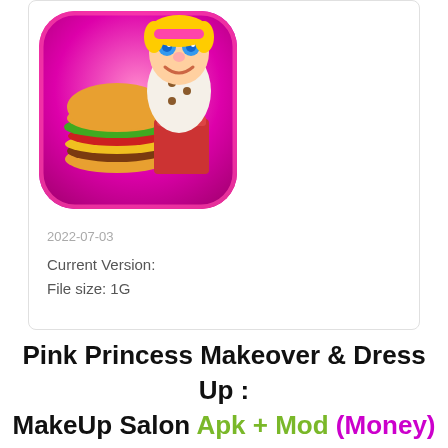[Figure (illustration): App icon for a cooking/food game showing a cartoon chef character with blue eyes holding a large hamburger and french fries, with a pink and purple gradient background and rounded square border]
2022-07-03
Current Version:
File size: 1G
Pink Princess Makeover & Dress Up : MakeUp Salon Apk + Mod (Money) Android